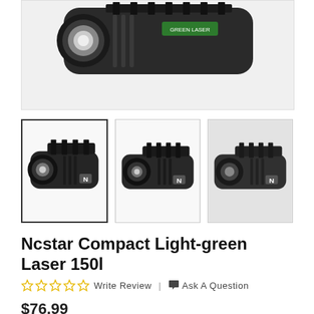[Figure (photo): Close-up cropped photo of a black tactical flashlight/laser combo unit, showing the front lens and body mounting rail. White background.]
[Figure (photo): Thumbnail image 1 (selected, bordered): NcStar compact tactical light with green laser, angled view showing front lens and rail mount, white background.]
[Figure (photo): Thumbnail image 2: NcStar compact tactical light with green laser, side profile view showing lens and body, white background.]
[Figure (photo): Thumbnail image 3: NcStar compact tactical light with green laser, slightly blurred side view, white background.]
Ncstar Compact Light-green Laser 150l
☆ ☆ ☆ ☆ ☆  Write Review  |  💬 Ask A Question
$76.99